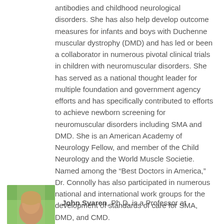antibodies and childhood neurological disorders. She has also help develop outcome measures for infants and boys with Duchenne muscular dystrophy (DMD) and has led or been a collaborator in numerous pivotal clinical trials in children with neuromuscular disorders. She has served as a national thought leader for multiple foundation and government agency efforts and has specifically contributed to efforts to achieve newborn screening for neuromuscular disorders including SMA and DMD. She is an American Academy of Neurology Fellow, and member of the Child Neurology and the World Muscle Societie. Named among the “Best Doctors in America,” Dr. Connolly has also participated in numerous national and international work groups for the development of standards of care for SMA, DMD, and CMD.
[Figure (photo): Headshot photo of John Svaren, partially visible at bottom of page, showing top of head and forehead against a green and warm-toned background.]
John Svaren, Ph.D. is a Professor at